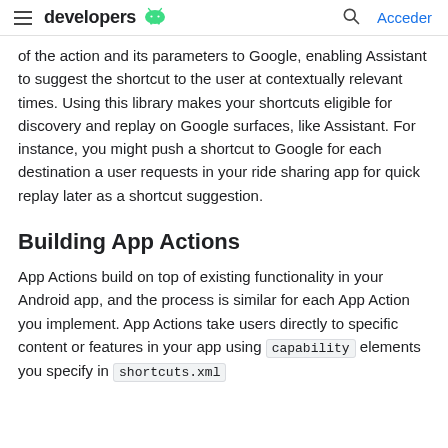developers [android logo] [search icon] Acceder
of the action and its parameters to Google, enabling Assistant to suggest the shortcut to the user at contextually relevant times. Using this library makes your shortcuts eligible for discovery and replay on Google surfaces, like Assistant. For instance, you might push a shortcut to Google for each destination a user requests in your ride sharing app for quick replay later as a shortcut suggestion.
Building App Actions
App Actions build on top of existing functionality in your Android app, and the process is similar for each App Action you implement. App Actions take users directly to specific content or features in your app using capability elements you specify in shortcuts.xml